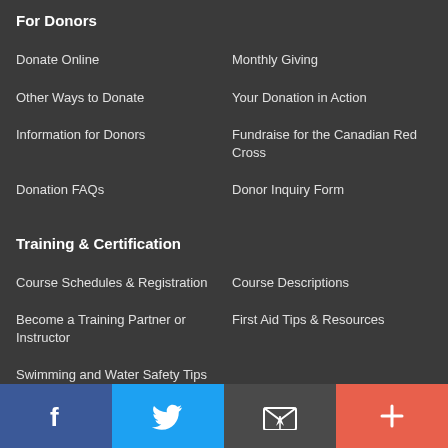For Donors
Donate Online
Monthly Giving
Other Ways to Donate
Your Donation in Action
Information for Donors
Fundraise for the Canadian Red Cross
Donation FAQs
Donor Inquiry Form
Training & Certification
Course Schedules & Registration
Course Descriptions
Become a Training Partner or Instructor
First Aid Tips & Resources
Swimming and Water Safety Tips & Resources